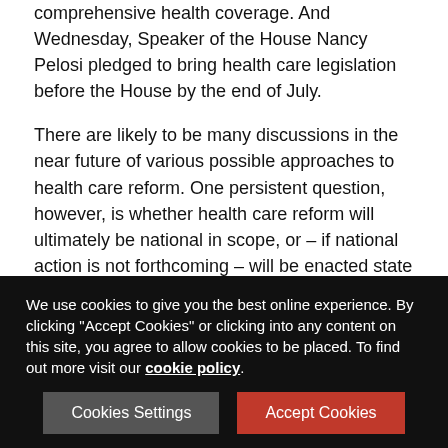comprehensive health coverage. And Wednesday, Speaker of the House Nancy Pelosi pledged to bring health care legislation before the House by the end of July.
There are likely to be many discussions in the near future of various possible approaches to health care reform. One persistent question, however, is whether health care reform will ultimately be national in scope, or – if national action is not forthcoming – will be enacted state by state or even city by city.
ERISA Preemption. The problem with enacting health care legislation at the local level is that ERISA has preempted such attempts since its enactment in 1974. Originally, ERISA was drafted to put a stop to widespread mismanagement and abuse of employee pension plans. Back in 1974, the current crisis in health care access and affordability still lay far in the future...
We use cookies to give you the best online experience. By clicking "Accept Cookies" or clicking into any content on this site, you agree to allow cookies to be placed. To find out more visit our cookie policy.